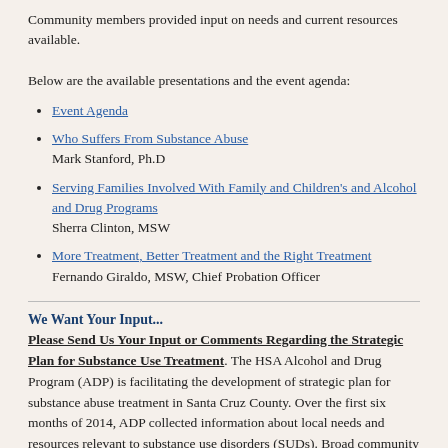Community members provided input on needs and current resources available.
Below are the available presentations and the event agenda:
Event Agenda
Who Suffers From Substance Abuse
Mark Stanford, Ph.D
Serving Families Involved With Family and Children's and Alcohol and Drug Programs
Sherra Clinton, MSW
More Treatment, Better Treatment and the Right Treatment
Fernando Giraldo, MSW, Chief Probation Officer
We Want Your Input...
Please Send Us Your Input or Comments Regarding the Strategic Plan for Substance Use Treatment. The HSA Alcohol and Drug Program (ADP) is facilitating the development of strategic plan for substance abuse treatment in Santa Cruz County. Over the first six months of 2014, ADP collected information about local needs and resources relevant to substance use disorders (SUDs). Broad community input for this data-driven strategic planning process was used to draft recommendations for SUD/COD treatment systems and services. Emphasis is on successful partnership with sister agencies and the community for effective, coordinated treatment services and supports.